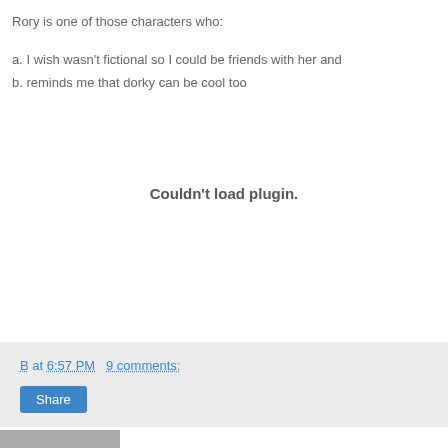Rory is one of those characters who:
a.  I wish wasn't fictional so I could be friends with her and
b.  reminds me that dorky can be cool too
[Figure (other): Plugin placeholder area showing 'Couldn't load plugin.' message]
B at 6:57 PM   9 comments:  Share